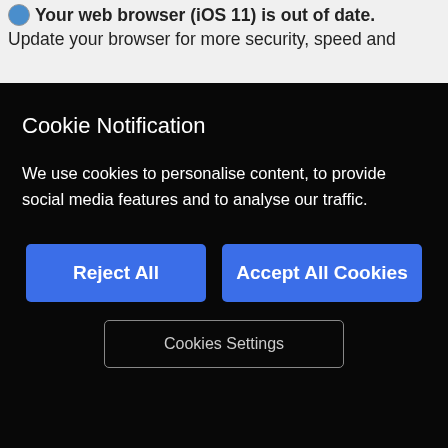Your web browser (iOS 11) is out of date. Update your browser for more security, speed and
Cookie Notification
We use cookies to personalise content, to provide social media features and to analyse our traffic.
Reject All
Accept All Cookies
Cookies Settings
3.90% + 0.49
£